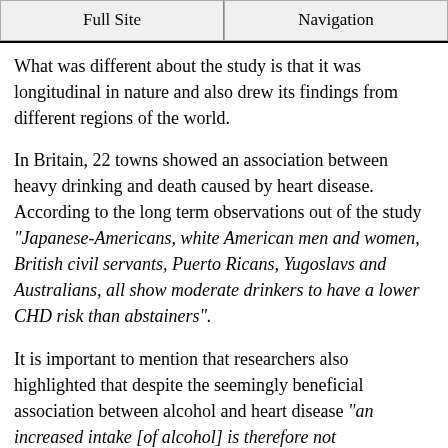Full Site | Navigation
What was different about the study is that it was longitudinal in nature and also drew its findings from different regions of the world.
In Britain, 22 towns showed an association between heavy drinking and death caused by heart disease. According to the long term observations out of the study "Japanese-Americans, white American men and women, British civil servants, Puerto Ricans, Yugoslavs and Australians, all show moderate drinkers to have a lower CHD risk than abstainers".
It is important to mention that researchers also highlighted that despite the seemingly beneficial association between alcohol and heart disease "an increased intake [of alcohol] is therefore not recommended as a community measure for CHD prevention".
Just about every study that finds moderate alcohol intake